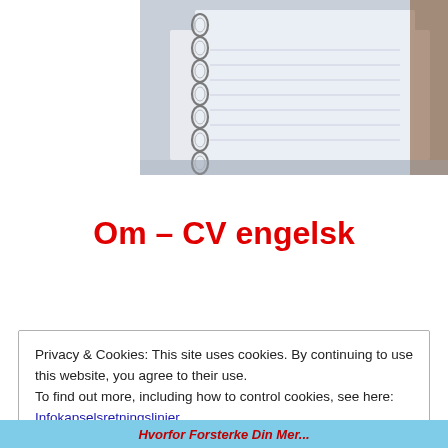[Figure (photo): Photo of a ring binder/notebook with spiral binding, partially open, viewed from an angle. Light blue and grey tones.]
Om – CV engelsk
Privacy & Cookies: This site uses cookies. By continuing to use this website, you agree to their use.
To find out more, including how to control cookies, see here:
Infokapselsretningslinjer
Lukk og aksepter
Hvorfor Forsterke Din Mer...